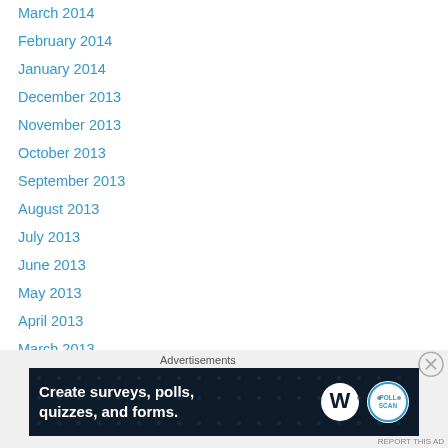March 2014
February 2014
January 2014
December 2013
November 2013
October 2013
September 2013
August 2013
July 2013
June 2013
May 2013
April 2013
March 2013
February 2013
January 2013
December 2012
[Figure (screenshot): Advertisement banner: 'Create surveys, polls, quizzes, and forms.' with WordPress and poll badge logos on dark blue background]
Advertisements